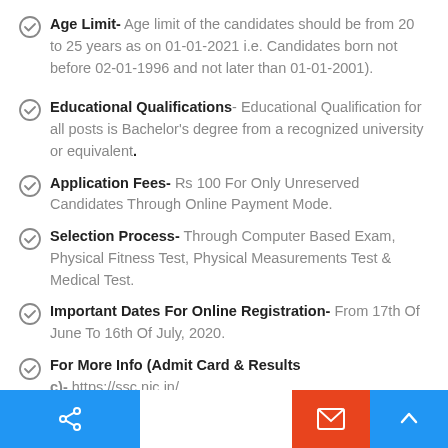Age Limit- Age limit of the candidates should be from 20 to 25 years as on 01-01-2021 i.e. Candidates born not before 02-01-1996 and not later than 01-01-2001).
Educational Qualifications- Educational Qualification for all posts is Bachelor's degree from a recognized university or equivalent.
Application Fees- Rs 100 For Only Unreserved Candidates Through Online Payment Mode.
Selection Process- Through Computer Based Exam, Physical Fitness Test, Physical Measurements Test & Medical Test.
Important Dates For Online Registration- From 17th Of June To 16th Of July, 2020.
For More Info (Admit Card & Results c)- https://ssc.nic.in/ .